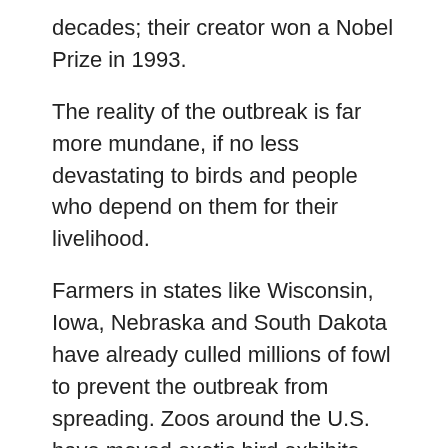decades; their creator won a Nobel Prize in 1993.
The reality of the outbreak is far more mundane, if no less devastating to birds and people who depend on them for their livelihood.
Farmers in states like Wisconsin, Iowa, Nebraska and South Dakota have already culled millions of fowl to prevent the outbreak from spreading. Zoos around the U.S. have moved exotic bird exhibits indoors to protect their animals, and wildlife authorities are discouraging backyard bird feeding in some states to prevent the spread by wild birds. The disease has also claimed bald eagles around the country.